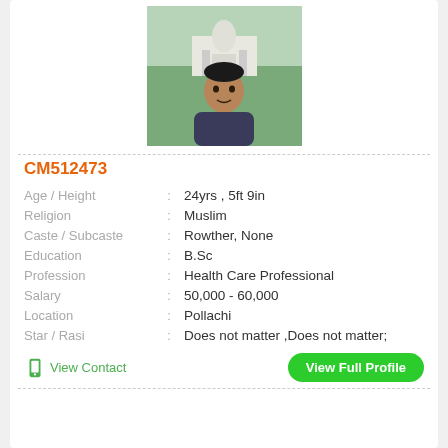[Figure (photo): Profile photo of a young man in front of the Taj Mahal, wearing a dark polo shirt]
CM512473
Age / Height : 24yrs , 5ft 9in
Religion : Muslim
Caste / Subcaste : Rowther, None
Education : B.Sc
Profession : Health Care Professional
Salary : 50,000 - 60,000
Location : Pollachi
Star / Rasi : Does not matter ,Does not matter;
View Contact
View Full Profile